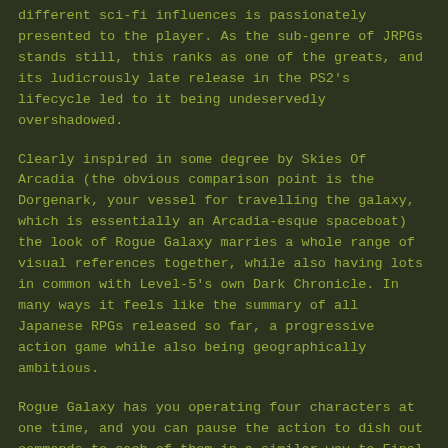different sci-fi influences is passionately presented to the player. As the sub-genre of JRPGs stands still, this ranks as one of the greats, and its ludicrously late release in the PS2's lifecycle led to it being undeservedly overshadowed.
Clearly inspired in some degree by Skies Of Arcadia (the obvious comparison point is the Dorgenark, your vessel for travelling the galaxy, which is essentially an Arcadia-esque spaceboat) the look of Rogue Galaxy marries a whole range of visual references together, while also having lots in common with Level-5's own Dark Chronicle. In many ways it feels like the summary of all Japanese RPGs released so far, a progressive action game while also being geographically ambitious.
Rogue Galaxy has you operating four characters at one time, and you can pause the action to dish out commands to each of them in a similar way to Final Fantasy XII, meaning that each battle has to be tackled as an overall tactical operation. Each hero is armed with their own character abilities, much like the character specific attacks in Chrono Trigger, and